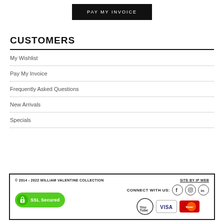PAY MY INVOICE
CUSTOMERS
My Wishlist
Pay My Invoice
Frequently Asked Questions
New Arrivals
Specials
© 2014 - 2022 WILLIAM VALENTINE COLLECTION  SITE BY IP WEB  SSL Secured  CONNECT WITH US: